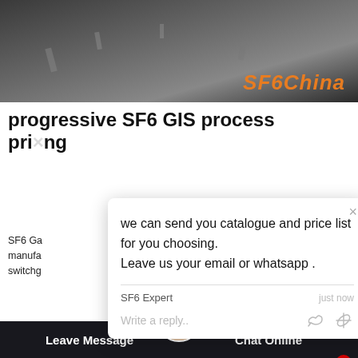[Figure (screenshot): Top banner image showing dark road/street scene with 'SF6China' branding in orange italic text at bottom right]
progressive SF6 GIS process pricing
SF6 Ga... manufactu... switchg... insulated
[Figure (screenshot): Chat popup overlay with message: 'we can send you catalogue and price list for you choosing. Leave us your email or whatsapp .' From SF6 Expert, just now. With reply input area.]
[Figure (screenshot): Green circular chat/message button with red badge showing '1']
applicat... networks.
[Figure (screenshot): Orange Get Price button]
[Figure (photo): Bottom section showing electrical power infrastructure against blue sky]
[Figure (screenshot): Footer navigation bar with 'Leave Message' on left, female avatar in center, 'Chat Online' on right, and orange scroll-to-top button]